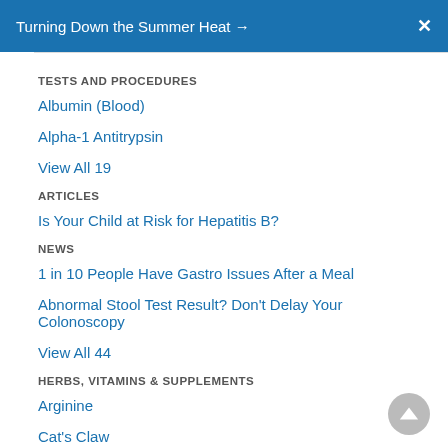Turning Down the Summer Heat →  X
TESTS AND PROCEDURES
Albumin (Blood)
Alpha-1 Antitrypsin
View All 19
ARTICLES
Is Your Child at Risk for Hepatitis B?
NEWS
1 in 10 People Have Gastro Issues After a Meal
Abnormal Stool Test Result? Don't Delay Your Colonoscopy
View All 44
HERBS, VITAMINS & SUPPLEMENTS
Arginine
Cat's Claw